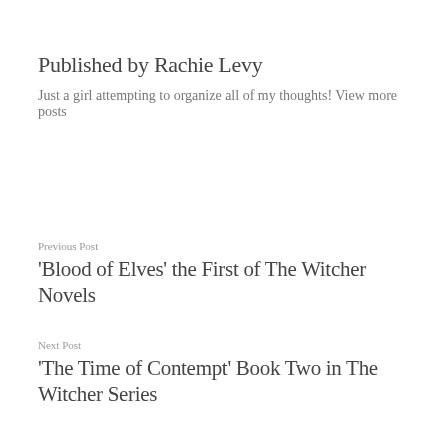Published by Rachie Levy
Just a girl attempting to organize all of my thoughts! View more posts
Previous Post
'Blood of Elves' the First of The Witcher Novels
Next Post
'The Time of Contempt' Book Two in The Witcher Series